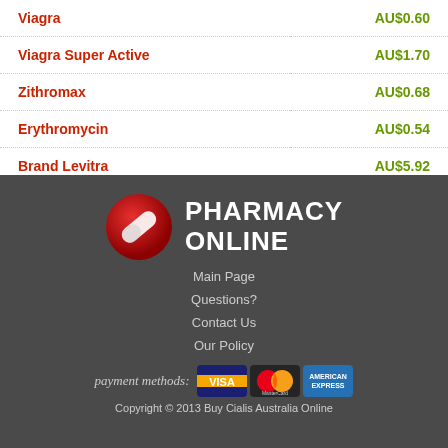| Product | Price |
| --- | --- |
| Viagra | AU$0.60 |
| Viagra Super Active | AU$1.70 |
| Zithromax | AU$0.68 |
| Erythromycin | AU$0.54 |
| Brand Levitra | AU$5.92 |
[Figure (logo): Pharmacy Online logo with red pill icon and white bold text reading PHARMACY ONLINE on dark grey background]
Main Page
Questions?
Contact Us
Our Policy
[Figure (infographic): Payment methods label with Visa, MasterCard, and American Express card logos]
Copyright © 2013 Buy Cialis Australia Online